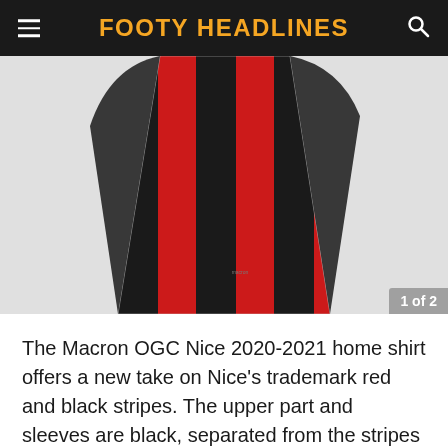FOOTY HEADLINES
[Figure (photo): Close-up of Macron OGC Nice 2020-2021 home shirt showing red and black vertical stripes on a light grey background. Image counter shows 1 of 2.]
The Macron OGC Nice 2020-2021 home shirt offers a new take on Nice's trademark red and black stripes. The upper part and sleeves are black, separated from the stripes through a soft